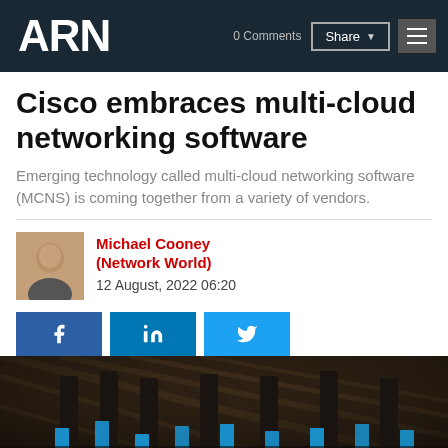ARN
Cisco embraces multi-cloud networking software
Emerging technology called multi-cloud networking software (MCNS) is coming together from a variety of vendors.
Michael Cooney (Network World)
12 August, 2022 06:20
[Figure (photo): Data center image showing server racks with blue cable indicators at the bottom of the page]